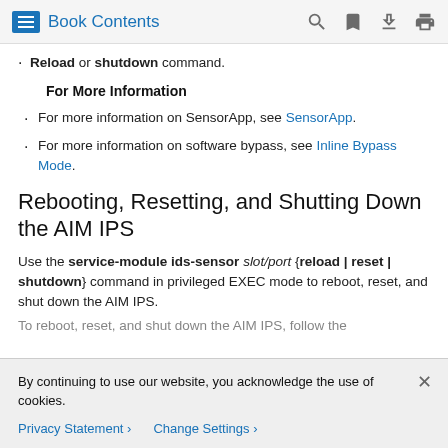Book Contents
Reload or shutdown command.
For More Information
For more information on SensorApp, see SensorApp.
For more information on software bypass, see Inline Bypass Mode.
Rebooting, Resetting, and Shutting Down the AIM IPS
Use the service-module ids-sensor slot/port {reload | reset | shutdown} command in privileged EXEC mode to reboot, reset, and shut down the AIM IPS.
By continuing to use our website, you acknowledge the use of cookies.
Privacy Statement > Change Settings >